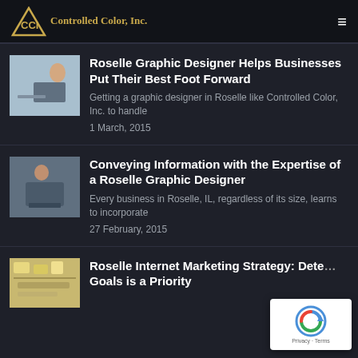CCI Controlled Color, Inc.
Roselle Graphic Designer Helps Businesses Put Their Best Foot Forward
Getting a graphic designer in Roselle like Controlled Color, Inc. to handle
1 March, 2015
Conveying Information with the Expertise of a Roselle Graphic Designer
Every business in Roselle, IL, regardless of its size, learns to incorporate
27 February, 2015
Roselle Internet Marketing Strategy: Dete... Goals is a Priority